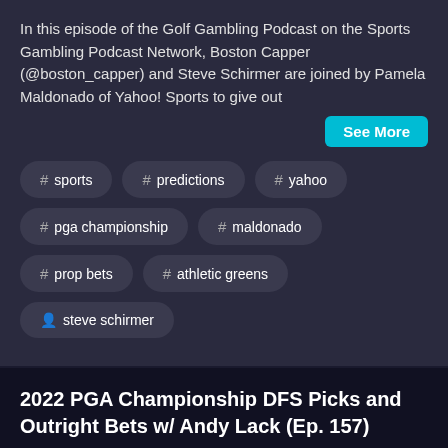In this episode of the Golf Gambling Podcast on the Sports Gambling Podcast Network, Boston Capper (@boston_capper) and Steve Schirmer are joined by Pamela Maldonado of Yahoo! Sports to give out
See More
# sports
# predictions
# yahoo
# pga championship
# maldonado
# prop bets
# athletic greens
person steve schirmer
2022 PGA Championship DFS Picks and Outright Bets w/ Andy Lack (Ep. 157)